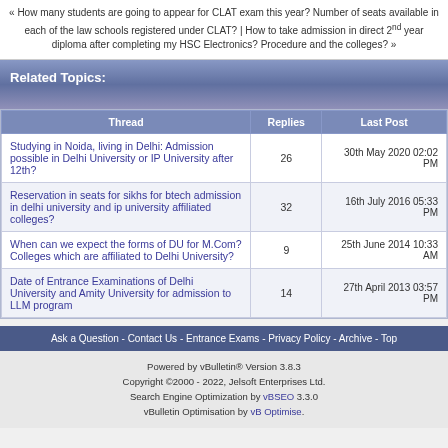« How many students are going to appear for CLAT exam this year? Number of seats available in each of the law schools registered under CLAT? | How to take admission in direct 2nd year diploma after completing my HSC Electronics? Procedure and the colleges? »
Related Topics:
| Thread | Replies | Last Post |
| --- | --- | --- |
| Studying in Noida, living in Delhi: Admission possible in Delhi University or IP University after 12th? | 26 | 30th May 2020 02:02 PM |
| Reservation in seats for sikhs for btech admission in delhi university and ip university affiliated colleges? | 32 | 16th July 2016 05:33 PM |
| When can we expect the forms of DU for M.Com? Colleges which are affiliated to Delhi University? | 9 | 25th June 2014 10:33 AM |
| Date of Entrance Examinations of Delhi University and Amity University for admission to LLM program | 14 | 27th April 2013 03:57 PM |
Ask a Question - Contact Us - Entrance Exams - Privacy Policy - Archive - Top
Powered by vBulletin® Version 3.8.3
Copyright ©2000 - 2022, Jelsoft Enterprises Ltd.
Search Engine Optimization by vBSEO 3.3.0
vBulletin Optimisation by vB Optimise.